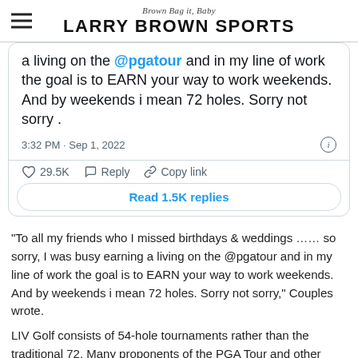Brown Bag it, Baby
LARRY BROWN SPORTS
[Figure (screenshot): Embedded tweet card showing partial tweet text: 'a living on the @pgatour and in my line of work the goal is to EARN your way to work weekends. And by weekends i mean 72 holes. Sorry not sorry .' Timestamp: 3:32 PM · Sep 1, 2022. Likes: 29.5K. Actions: Reply, Copy link. Read 1.5K replies button.]
“To all my friends who I missed birthdays & weddings …… so sorry, I was busy earning a living on the @pgatour and in my line of work the goal is to EARN your way to work weekends. And by weekends i mean 72 holes. Sorry not sorry,” Couples wrote.
LIV Golf consists of 54-hole tournaments rather than the traditional 72. Many proponents of the PGA Tour and other professional tours say you